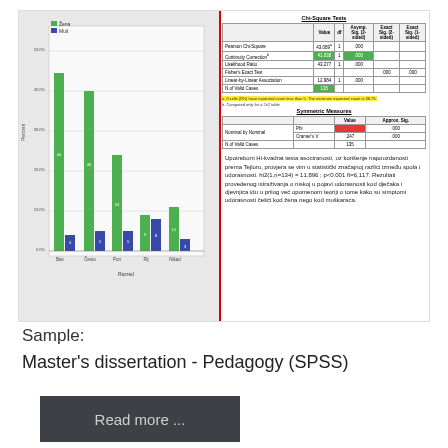[Figure (screenshot): Screenshot of SPSS output showing a grouped bar chart on the left and Chi-Square Tests and Symmetric Measures tables on the right, with a red vertical line divider, for a Master's dissertation in Pedagogy.]
Sample:
Master's dissertation - Pedagogy (SPSS)
Read more ...